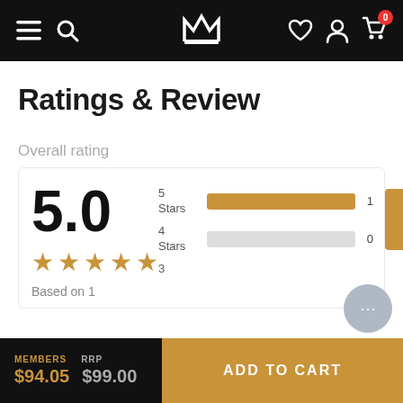[Figure (screenshot): E-commerce navigation bar with hamburger menu, search icon, crown logo, heart, profile, and cart icons on black background]
Ratings & Review
Overall rating
[Figure (infographic): Rating summary showing 5.0 score with 5 gold stars, Based on 1 review, with bar chart showing 5 Stars: 1, 4 Stars: 0, 3 Stars (partially visible)]
MEMBERS $94.05  RRP $99.00
ADD TO CART